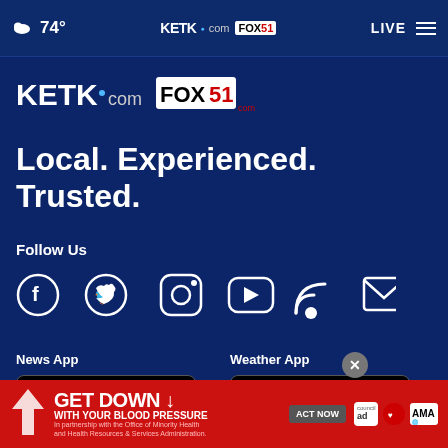74° KETK.com FOX51 LIVE
[Figure (logo): KETK.com and FOX51 combined logo]
Local. Experienced. Trusted.
Follow Us
[Figure (infographic): Social media icons: Facebook, Twitter, Instagram, YouTube, RSS, Email]
News App
[Figure (screenshot): Download on the App Store button (News App)]
Weather App
[Figure (screenshot): Download on the App Store button (Weather App)]
[Figure (screenshot): GET IT ON Google Play buttons (News and Weather)]
[Figure (infographic): Advertisement banner: GET DOWN WITH YOUR BLOOD PRESSURE - ACT NOW - ad council, American Heart Association, AMA logos]